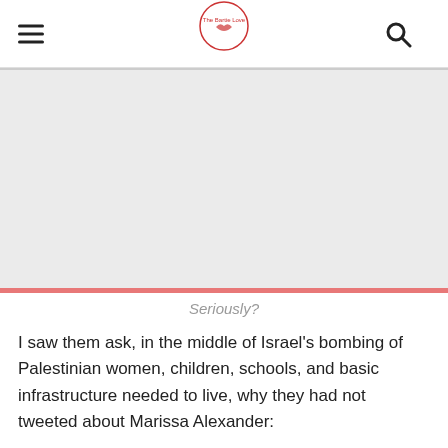The Bartie Love [logo]
[Figure (other): Large light gray placeholder image rectangle below the site header]
Seriously?
I saw them ask, in the middle of Israel's bombing of Palestinian women, children, schools, and basic infrastructure needed to live, why they had not tweeted about Marissa Alexander: